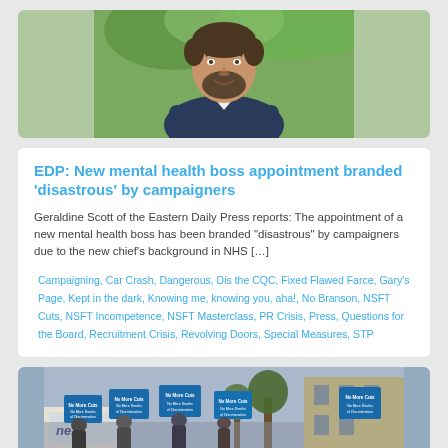[Figure (photo): Portrait photo of a bearded man smiling outdoors with green foliage in background]
EDP: New mental health boss appointment branded ‘disastrous’ by campaigners
Geraldine Scott of the Eastern Daily Press reports: The appointment of a new mental health boss has been branded “disastrous” by campaigners due to the new chief’s background in NHS […]
Campaigning, Car Crash, Dangerous, Dis the CQC, Fixed Flawed Farce, Gary’s Page, Kept in the dark, Knowing me, knowing you, aha!, No Branson, NSFT Cuts, NSFT Incompetence, NSFT Masterclass, PR Crisis, Press, Questions for the Board, Recruitment Crisis, Revolving Doors, Special Measures, STP
[Figure (photo): Protest photo showing demonstrators holding blue signs reading 'No More Cuts, No More Deaths of Discrimination' outside a building]